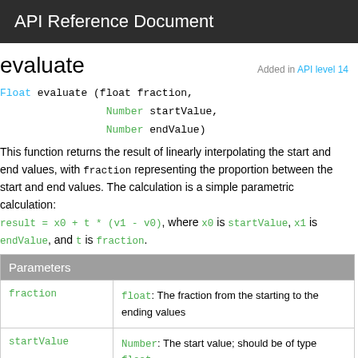API Reference Document
evaluate
Added in API level 14
Float evaluate (float fraction,
                Number startValue,
                Number endValue)
This function returns the result of linearly interpolating the start and end values, with fraction representing the proportion between the start and end values. The calculation is a simple parametric calculation: result = x0 + t * (v1 - v0), where x0 is startValue, x1 is endValue, and t is fraction.
| Parameters |
| --- |
| fraction | float: The fraction from the starting to the ending values |
| startValue | Number: The start value; should be of type float |